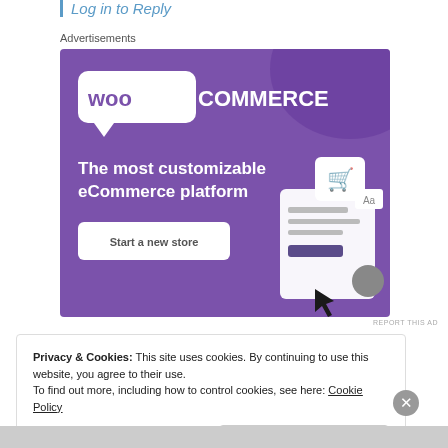Log in to Reply
Advertisements
[Figure (illustration): WooCommerce advertisement banner. Purple background with WooCommerce logo at top, text 'The most customizable eCommerce platform', a 'Start a new store' button, and an illustration of a shopping cart and document UI on the right side.]
REPORT THIS AD
Privacy & Cookies: This site uses cookies. By continuing to use this website, you agree to their use.
To find out more, including how to control cookies, see here: Cookie Policy
Close and accept